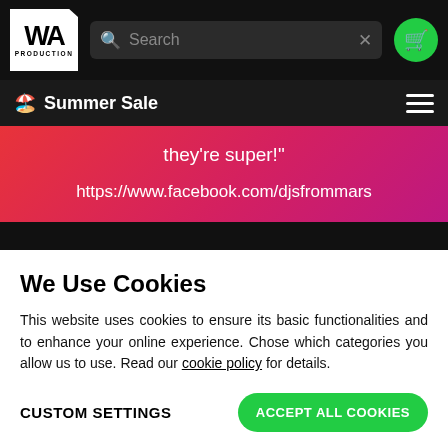[Figure (screenshot): WA Production website header with logo, search bar, and cart button on black background]
🏖️ Summer Sale
they're super!"
https://www.facebook.com/djsfrommars
We Use Cookies
This website uses cookies to ensure its basic functionalities and to enhance your online experience. Chose which categories you allow us to use. Read our cookie policy for details.
CUSTOM SETTINGS
ACCEPT ALL COOKIES